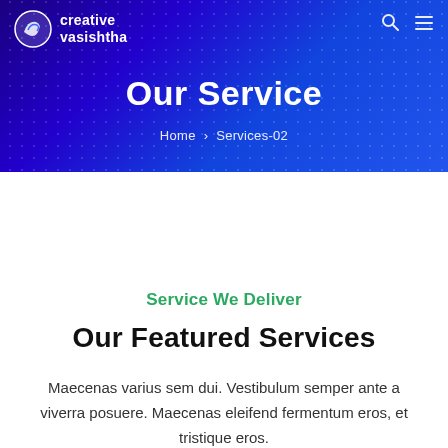creative vasishtha
Our Service
Home › Services-02
Service We Deliver
Our Featured Services
Maecenas varius sem dui. Vestibulum semper ante a viverra posuere. Maecenas eleifend fermentum eros, et tristique eros.